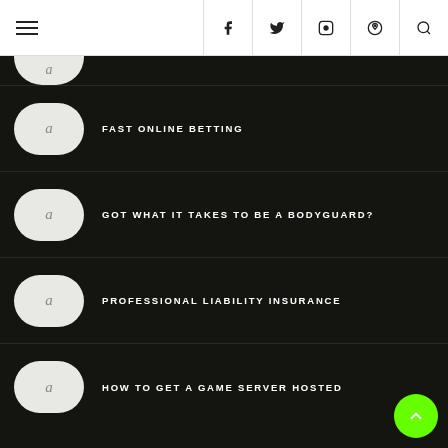≡  f  t  ☷  ✿  🔍
FAST ONLINE BETTING
GOT WHAT IT TAKES TO BE A BODYGUARD?
PROFESSIONAL LIABILITY INSURANCE
HOW TO GET A GAME SERVER HOSTED